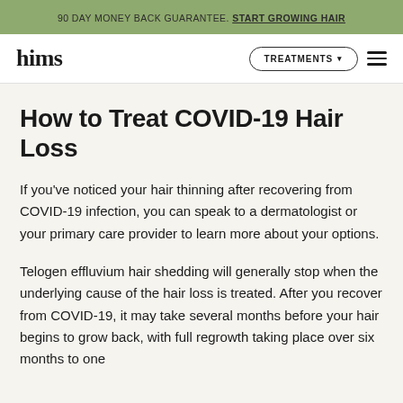90 DAY MONEY BACK GUARANTEE. START GROWING HAIR
hims   TREATMENTS   ☰
How to Treat COVID-19 Hair Loss
If you've noticed your hair thinning after recovering from COVID-19 infection, you can speak to a dermatologist or your primary care provider to learn more about your options.
Telogen effluvium hair shedding will generally stop when the underlying cause of the hair loss is treated. After you recover from COVID-19, it may take several months before your hair begins to grow back, with full regrowth taking place over six months to one